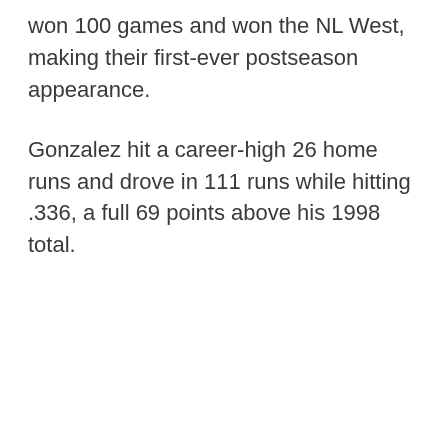won 100 games and won the NL West, making their first-ever postseason appearance.
Gonzalez hit a career-high 26 home runs and drove in 111 runs while hitting .336, a full 69 points above his 1998 total.